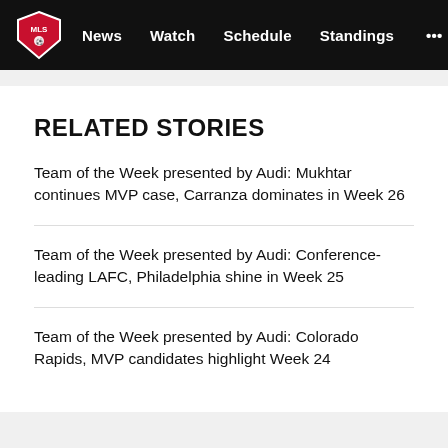MLS — News  Watch  Schedule  Standings  ...
RELATED STORIES
Team of the Week presented by Audi: Mukhtar continues MVP case, Carranza dominates in Week 26
Team of the Week presented by Audi: Conference-leading LAFC, Philadelphia shine in Week 25
Team of the Week presented by Audi: Colorado Rapids, MVP candidates highlight Week 24